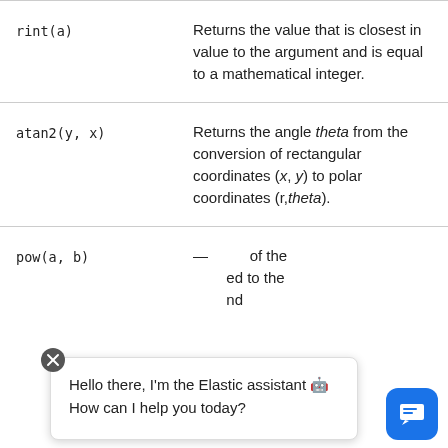| Function | Description |
| --- | --- |
| rint(a) | Returns the value that is closest in value to the argument and is equal to a mathematical integer. |
| atan2(y, x) | Returns the angle theta from the conversion of rectangular coordinates (x, y) to polar coordinates (r,theta). |
| pow(a, b) | Returns the value of the first argument raised to the power of the second argument. |
Hello there, I'm the Elastic assistant 🤖 How can I help you today?